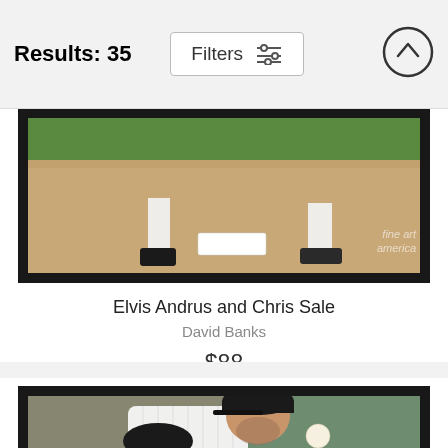Results: 35
Filters
[Figure (photo): Partial view of a baseball field base area with white-uniformed players' feet, brown dirt infield, and green grass. Watermark text reads 'fine art america' in bottom right.]
Elvis Andrus and Chris Sale
David Banks
$88
[Figure (photo): Close-up action photo of a Chicago White Sox pitcher in white pinstripe uniform and black cap with 'Sox' logo, winding up to throw a baseball. Player has beard and is photographed from low angle with blurred crowd background.]